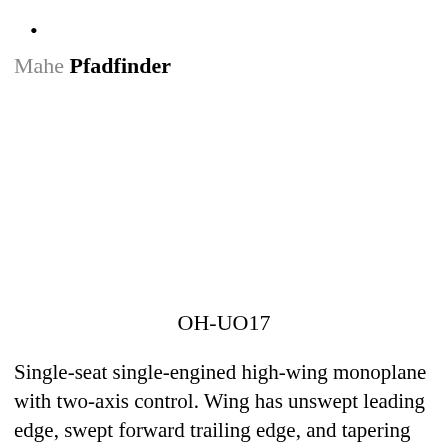•
Mahe Pfadfinder
OH-UO17
Single-seat single-engined high-wing monoplane with two-axis control. Wing has unswept leading edge, swept forward trailing edge, and tapering chord; conventional tail. Pitch control by fully